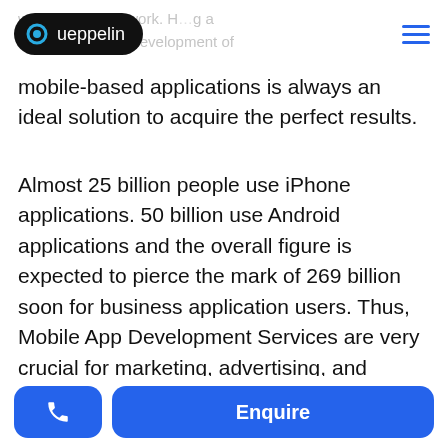Queppelin
mobile-based applications is always an ideal solution to acquire the perfect results.
Almost 25 billion people use iPhone applications. 50 billion use Android applications and the overall figure is expected to pierce the mark of 269 billion soon for business application users. Thus, Mobile App Development Services are very crucial for marketing, advertising, and reaching to a large number of population.
Enquire